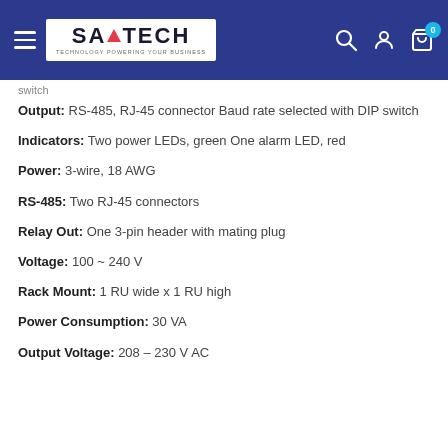SAITECH — TECHNOLOGY POWERING YOUR BUSINESS
switch
Output: RS-485, RJ-45 connector Baud rate selected with DIP switch
Indicators: Two power LEDs, green One alarm LED, red
Power: 3-wire, 18 AWG
RS-485: Two RJ-45 connectors
Relay Out: One 3-pin header with mating plug
Voltage: 100 ~ 240 V
Rack Mount: 1 RU wide x 1 RU high
Power Consumption: 30 VA
Output Voltage: 208 – 230 V AC